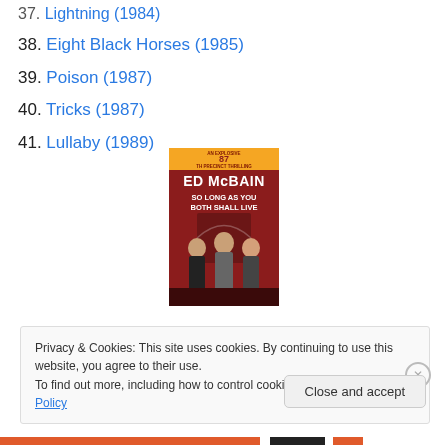37. Lightning (1984)
38. Eight Black Horses (1985)
39. Poison (1987)
40. Tricks (1987)
41. Lullaby (1989)
[Figure (illustration): Book cover of 'So Long As You Both Shall Live' by Ed McBain, part of the 87th Precinct series. Red background with figures of people and an arched doorway.]
Privacy & Cookies: This site uses cookies. By continuing to use this website, you agree to their use.
To find out more, including how to control cookies, see here: Cookie Policy
Close and accept